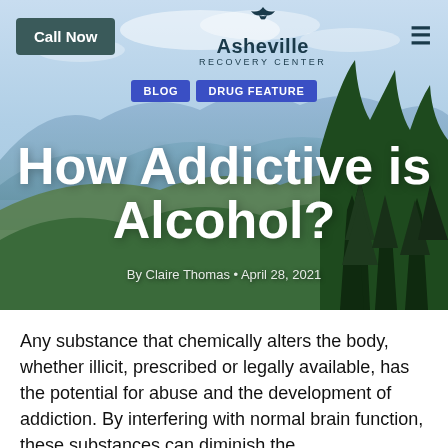[Figure (photo): Hero image of Blue Ridge Mountains with forested slopes and blue sky, used as background for webpage header]
Call Now | Asheville Recovery Center | (hamburger menu)
BLOG
DRUG FEATURE
How Addictive is Alcohol?
By Claire Thomas • April 28, 2021
Any substance that chemically alters the body, whether illicit, prescribed or legally available, has the potential for abuse and the development of addiction. By interfering with normal brain function, these substances can diminish the